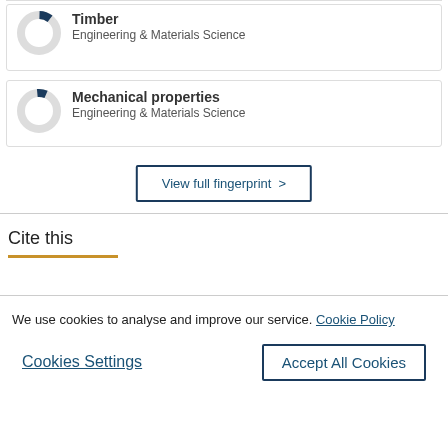[Figure (donut-chart): Donut chart icon for Timber, mostly empty with small dark blue filled segment (~10%)]
Timber
Engineering & Materials Science
[Figure (donut-chart): Donut chart icon for Mechanical properties, mostly empty with small dark blue filled segment (~8%)]
Mechanical properties
Engineering & Materials Science
View full fingerprint >
Cite this
We use cookies to analyse and improve our service. Cookie Policy
Cookies Settings
Accept All Cookies